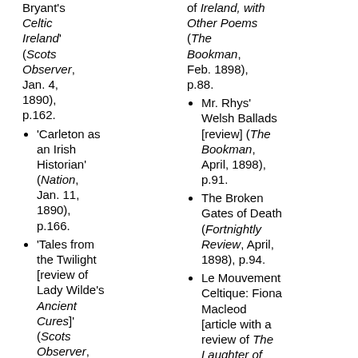Bryant's Celtic Ireland' (Scots Observer, Jan. 4, 1890), p.162.
'Carleton as an Irish Historian' (Nation, Jan. 11, 1890), p.166.
'Tales from the Twilight [review of Lady Wilde's Ancient Cures]' (Scots Observer, March 1, 1890), p.169.
'Poetry and Science in Folk-Lore' (Academy,
of Ireland, with Other Poems (The Bookman, Feb. 1898), p.88.
Mr. Rhys' Welsh Ballads [review] (The Bookman, April, 1898), p.91.
The Broken Gates of Death (Fortnightly Review, April, 1898), p.94.
Le Mouvement Celtique: Fiona Macleod [article with a review of The Laughter of Peterkin ( L'Irlande Libre, April I, 1898), p.108.
'A.E.'s Poems [review of The Earth Breath